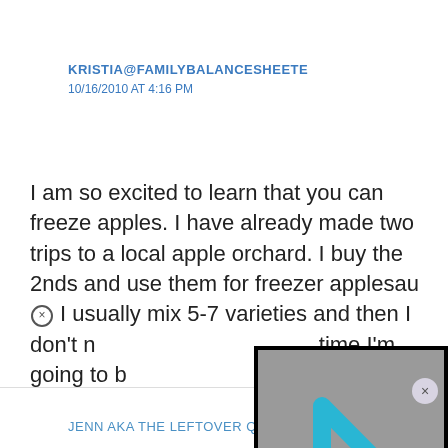KRISTIA@FAMILYBALANCESHEETE
10/16/2010 AT 4:16 PM
I am so excited to learn that you can freeze apples. I have already made two trips to a local apple orchard. I buy the 2nds and use them for freezer applesauce. I usually mix 5-7 varieties and then I don't need to add sugar. This time I'm going to buy...
[Figure (screenshot): Video player overlay showing a gray background with a cyan/teal triangular play button logo (stylized arrow with 'i' symbol inside), on a black background.]
JENN AKA THE LEFTOVER QUEEN